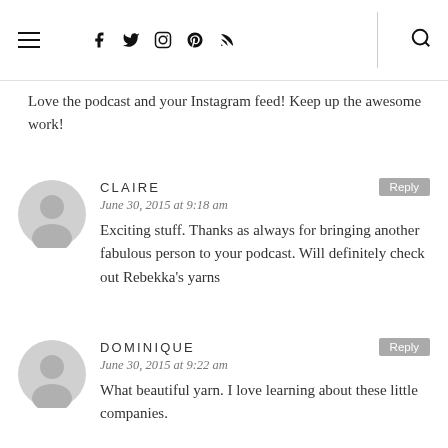Navigation header with hamburger menu, social icons (Facebook, Twitter, Instagram, Pinterest, RSS), divider, and search icon
Love the podcast and your Instagram feed! Keep up the awesome work!
CLAIRE
June 30, 2015 at 9:18 am
Exciting stuff. Thanks as always for bringing another fabulous person to your podcast. Will definitely check out Rebekka's yarns
DOMINIQUE
June 30, 2015 at 9:22 am
What beautiful yarn. I love learning about these little companies.